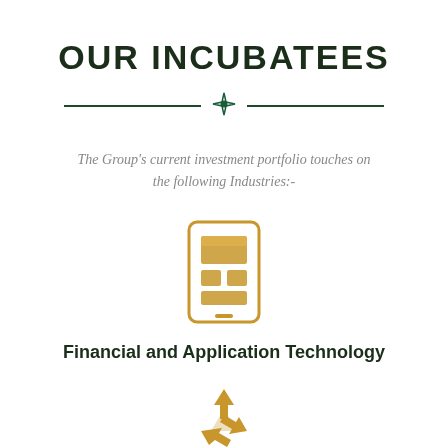OUR INCUBATEES
The Group's current investment portfolio touches on the following Industries:-
[Figure (illustration): Gold-colored mobile phone / tablet icon with a bar chart layout displayed on the screen]
Financial and Application Technology
[Figure (illustration): Gold-colored recycling arrows icon]